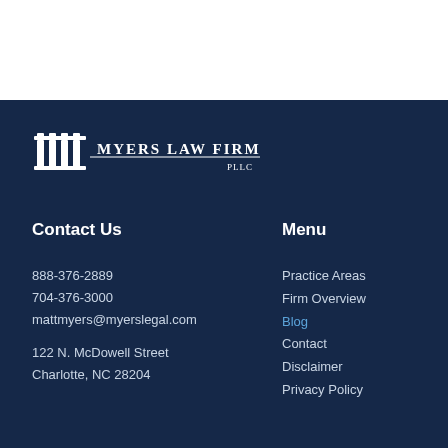[Figure (logo): Myers Law Firm PLLC logo with two column pillar icons and firm name text]
Contact Us
Menu
888-376-2889
704-376-3000
mattmyers@myerslegal.com
122 N. McDowell Street
Charlotte, NC 28204
Practice Areas
Firm Overview
Blog
Contact
Disclaimer
Privacy Policy